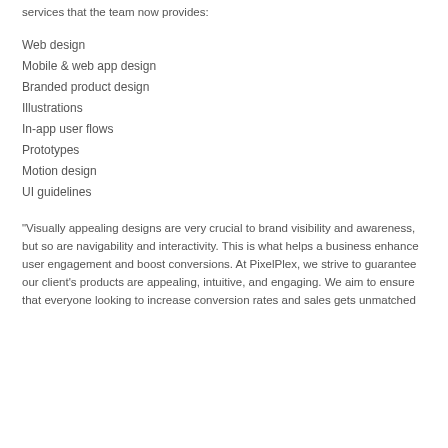services that the team now provides:
Web design
Mobile & web app design
Branded product design
Illustrations
In-app user flows
Prototypes
Motion design
UI guidelines
“Visually appealing designs are very crucial to brand visibility and awareness, but so are navigability and interactivity. This is what helps a business enhance user engagement and boost conversions. At PixelPlex, we strive to guarantee our client’s products are appealing, intuitive, and engaging. We aim to ensure that everyone looking to increase conversion rates and sales gets unmatched